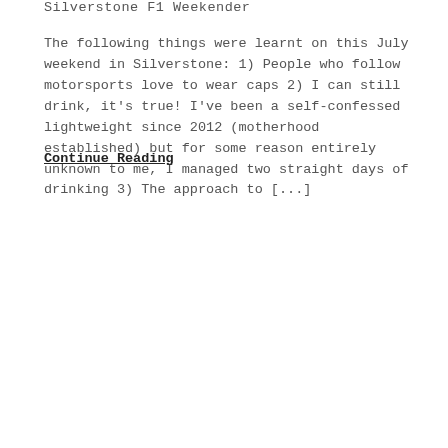Silverstone F1 Weekender
The following things were learnt on this July weekend in Silverstone: 1) People who follow motorsports love to wear caps 2) I can still drink, it's true! I've been a self-confessed lightweight since 2012 (motherhood established) but for some reason entirely unknown to me, I managed two straight days of drinking 3) The approach to [...]
Continue Reading